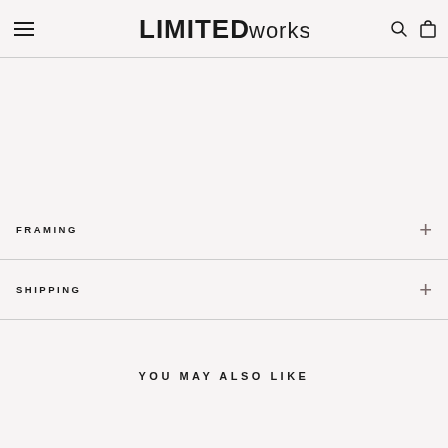LIMITED WORKS
FRAMING
SHIPPING
YOU MAY ALSO LIKE